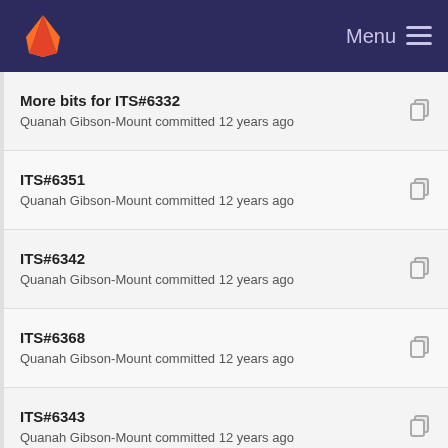GitLab — Menu
More bits for ITS#6332
Quanah Gibson-Mount committed 12 years ago
ITS#6351
Quanah Gibson-Mount committed 12 years ago
ITS#6342
Quanah Gibson-Mount committed 12 years ago
ITS#6368
Quanah Gibson-Mount committed 12 years ago
ITS#6343
Quanah Gibson-Mount committed 12 years ago
ITS#6345
Quanah Gibson-Mount committed 12 years ago
ITS#5909 is Build Env, not Bug
Howard Chu committed 12 years ago
ITS#5366
Quanah Gibson-Mount committed 12 years ago